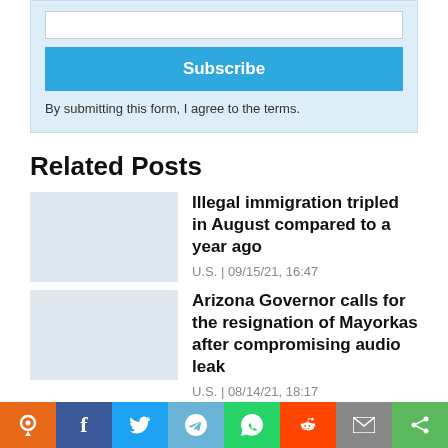By submitting this form, I agree to the terms.
Related Posts
Illegal immigration tripled in August compared to a year ago
U.S. | 09/15/21, 16:47
Arizona Governor calls for the resignation of Mayorkas after compromising audio leak
U.S. | 08/14/21, 18:17
'Border crisis is unsustainable...